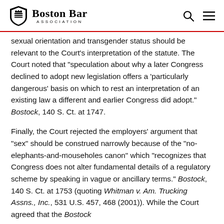Boston Bar Association
sexual orientation and transgender status should be relevant to the Court’s interpretation of the statute. The Court noted that “speculation about why a later Congress declined to adopt new legislation offers a ‘particularly dangerous’ basis on which to rest an interpretation of an existing law a different and earlier Congress did adopt.” Bostock, 140 S. Ct. at 1747.
Finally, the Court rejected the employers’ argument that “sex” should be construed narrowly because of the “no-elephants-and-mouseholes canon” which “recognizes that Congress does not alter fundamental details of a regulatory scheme by speaking in vague or ancillary terms.” Bostock, 140 S. Ct. at 1753 (quoting Whitman v. Am. Trucking Assns., Inc., 531 U.S. 457, 468 (2001)). While the Court agreed that the Bostock